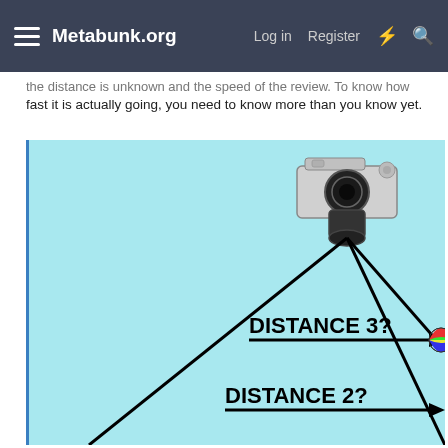Metabunk.org   Log in   Register
... the distance is unknown and the speed of the review. To know how fast it is actually going, you need to know more than you know yet.
[Figure (illustration): Diagram showing a camera at top right with two lines forming a triangle/field of view downward. Two horizontal arrows labeled 'DISTANCE 3?' and 'DISTANCE 2?' point to the right at different depths, indicating unknown distances at different positions within the camera's field of view. A small colorful ball appears at the tip of the Distance 3 arrow.]